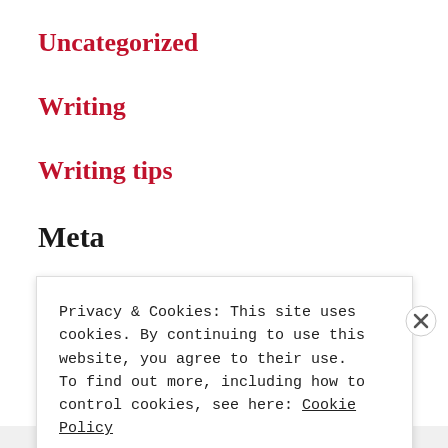Uncategorized
Writing
Writing tips
Meta
Register
Log in (partial, clipped)
Privacy & Cookies: This site uses cookies. By continuing to use this website, you agree to their use. To find out more, including how to control cookies, see here: Cookie Policy
Close and accept